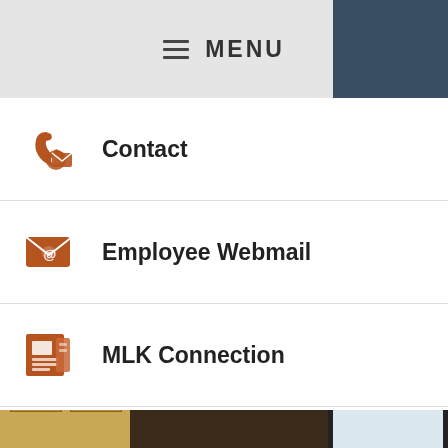MENU
Contact
Employee Webmail
MLK Connection
School Accountability Report
[Figure (photo): Elementary school classroom with students wearing masks raising their hands, with a smartboard displaying content and colorful bulletin boards in the background.]